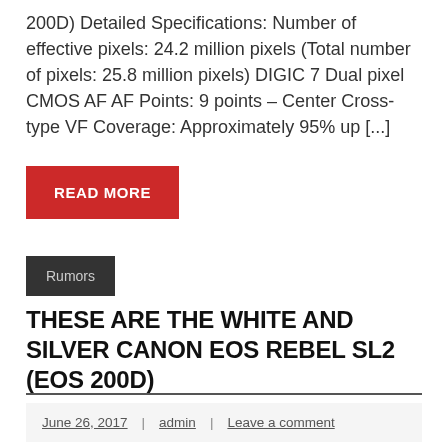200D) Detailed Specifications: Number of effective pixels: 24.2 million pixels (Total number of pixels: 25.8 million pixels) DIGIC 7 Dual pixel CMOS AF AF Points: 9 points – Center Cross-type VF Coverage: Approximately 95% up [...]
READ MORE
Rumors
THESE ARE THE WHITE AND SILVER CANON EOS REBEL SL2 (EOS 200D)
June 26, 2017 | admin | Leave a comment